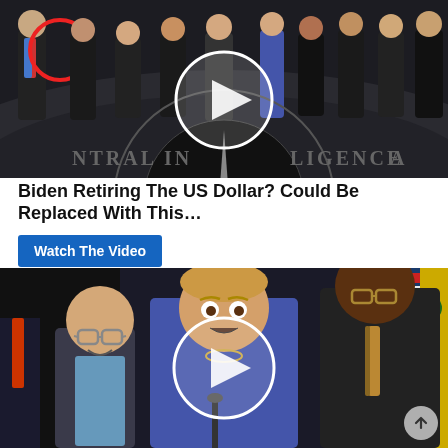[Figure (photo): Group of men in suits standing in the CIA headquarters lobby with the CIA seal on the floor. A red circle highlights one person on the left. A white play button circle is overlaid in the center of the image.]
Biden Retiring The US Dollar? Could Be Replaced With This…
Watch The Video
[Figure (photo): Nancy Pelosi and other politicians at a press conference. Pelosi is in a blue suit speaking at a podium. A white play button circle is overlaid in the center of the image. A scroll-up arrow button is visible in the bottom-right corner.]